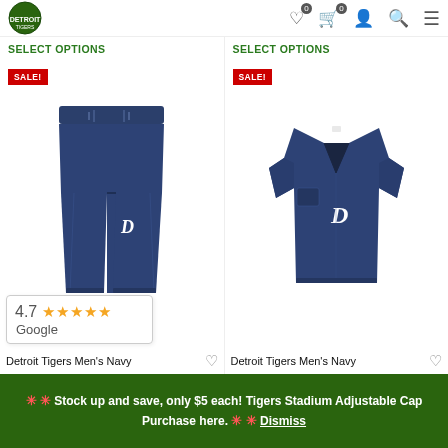Navigation bar with logo and icons
SELECT OPTIONS
SELECT OPTIONS
[Figure (photo): Navy Detroit Tigers scrub pants with D logo and SALE! badge]
[Figure (photo): Navy Detroit Tigers scrub top/shirt with D logo and SALE! badge]
Detroit Tigers Men's Navy
Detroit Tigers Men's Navy
4.7 ★★★★★ Google
🔸🔸 Stock up and save, only $5 each! Tigers Stadium Adjustable Cap Purchase here. 🔸🔸 Dismiss